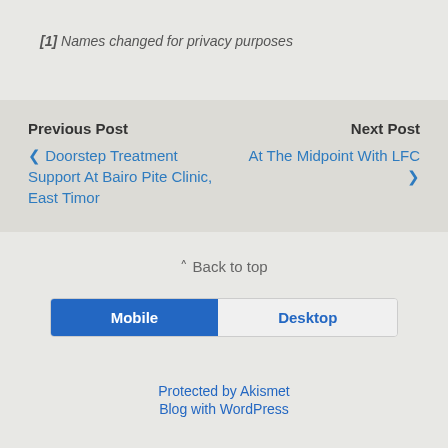[1] Names changed for privacy purposes
Previous Post
❮ Doorstep Treatment Support At Bairo Pite Clinic, East Timor
Next Post
At The Midpoint With LFC ❯
⌃ Back to top
[Figure (other): Mobile/Desktop toggle button with Mobile selected (blue) and Desktop unselected]
Protected by Akismet
Blog with WordPress